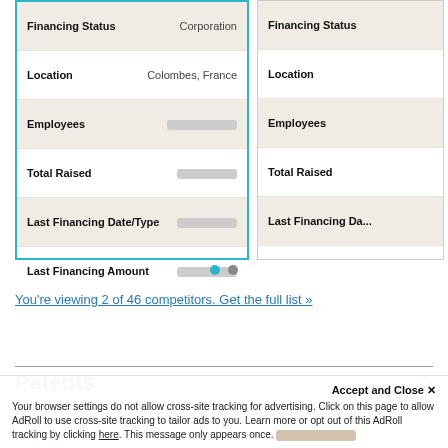| Field | Value |
| --- | --- |
| Financing Status | Corporation |
| Location | Colombes, France |
| Employees | [redacted] |
| Total Raised | [redacted] |
| Last Financing Date/Type | [redacted] |
| Last Financing Amount | [redacted] |
| Field | Value |
| --- | --- |
| Financing Status |  |
| Location |  |
| Employees |  |
| Total Raised |  |
| Last Financing Da... |  |
| Last Financing Am... |  |
[Figure (other): Pagination dots — two circles, first active (teal), second inactive (grey)]
You're viewing 2 of 46 competitors. Get the full list »
Patents
3,479
Accept and Close ×
Your browser settings do not allow cross-site tracking for advertising. Click on this page to allow AdRoll to use cross-site tracking to tailor ads to you. Learn more or opt out of this AdRoll tracking by clicking here. This message only appears once.